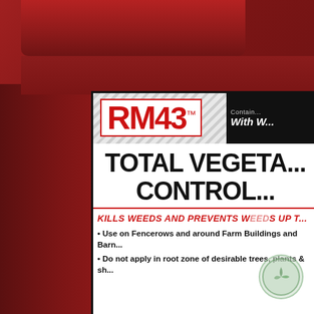[Figure (photo): Close-up photograph of a red RM43 Total Vegetation Control jug/container. The red plastic jug dominates the left and top portions of the image. A white product label is visible on the right side of the jug showing the RM43 logo in red on a diagonal stripe background, a black box with 'Contains... With W...' text, the large bold title 'TOTAL VEGETA... CONTROL...' in black, a red italic subheading 'KILLS WEEDS AND PREVENTS W...DS UP T...', and two bullet points beginning 'Use on Fencerows and around Farm Buildings and Barn...' and 'Do not apply in root zone of desirable trees, plants & sh...']
RM43™
TOTAL VEGETATION CONTROL
Contains With W...
KILLS WEEDS AND PREVENTS WEEDS UP T...
Use on Fencerows and around Farm Buildings and Barn...
Do not apply in root zone of desirable trees, plants & sh...